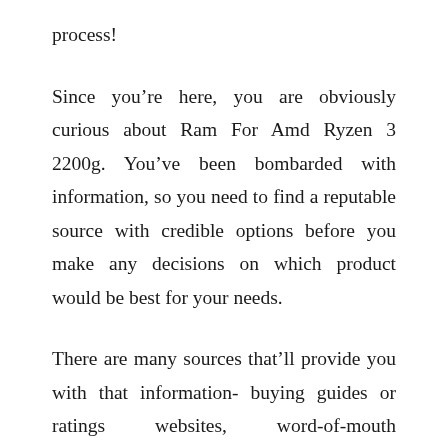process!
Since you’re here, you are obviously curious about Ram For Amd Ryzen 3 2200g. You’ve been bombarded with information, so you need to find a reputable source with credible options before you make any decisions on which product would be best for your needs.
There are many sources that’ll provide you with that information- buying guides or ratings websites, word-of-mouth testimonials from friends or family members, online forums where users share their personal experiences, product reviews specifically found all over the internet